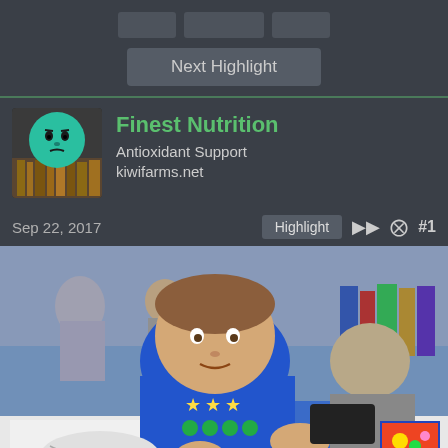[Figure (screenshot): Navigation tab buttons at top]
Next Highlight
[Figure (logo): Teal circular avatar with face illustration for Finest Nutrition]
Finest Nutrition
Antioxidant Support
kiwifarms.net
Sep 22, 2017
Highlight
#1
[Figure (photo): A man in a blue Mario t-shirt sitting at a table with papers and a blue folder, at what appears to be a convention. Another person in grey is visible to the right. Bookshelves visible in background.]